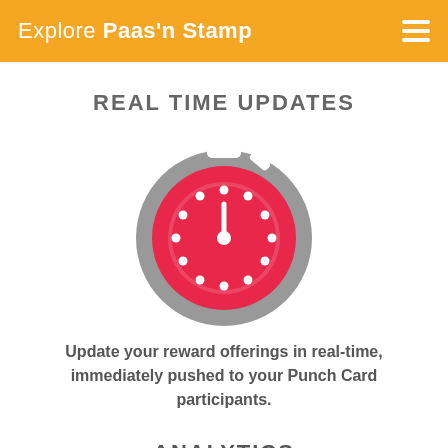Explore Paas'n Stamp
REAL TIME UPDATES
[Figure (illustration): A stopwatch icon: gray outer circle with a pink/red inner circle showing a clock face with white dots for hour markers and a white clock hand, plus a button on top and a lug on the upper right.]
Update your reward offerings in real-time, immediately pushed to your Punch Card participants.
ANALYTICS